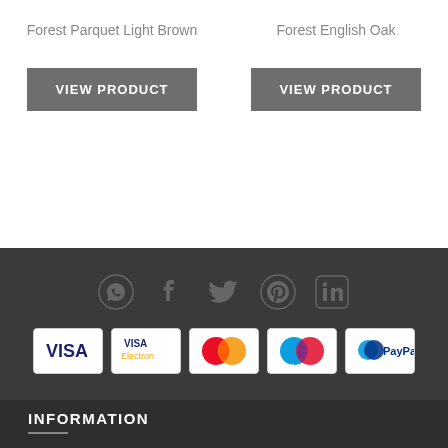Forest Parquet Light Brown
VIEW PRODUCT
Forest English Oak
VIEW PRODUCT
[Figure (infographic): Social media icons: WhatsApp, Facebook, Twitter, Pinterest, LinkedIn in dark gray on dark background]
[Figure (infographic): Payment method logos: VISA, VISA Electron, Mastercard, Maestro, PayPal on white cards]
INFORMATION